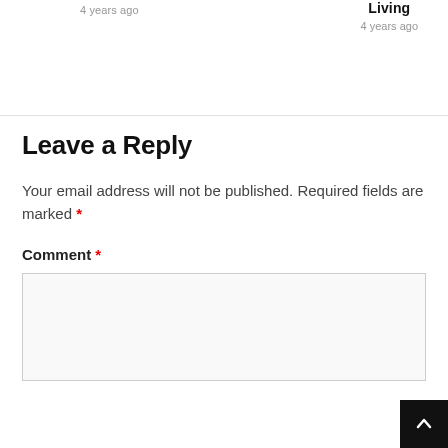4 years ago
Living
4 years ago
Leave a Reply
Your email address will not be published. Required fields are marked *
Comment *